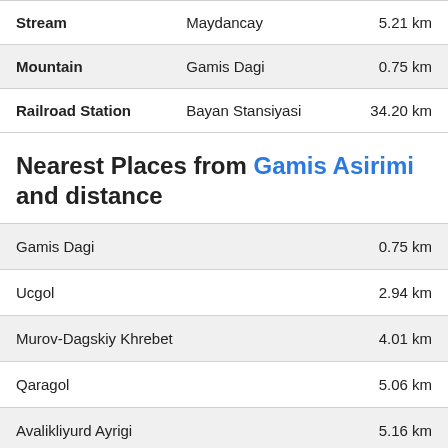| Type | Name | Distance |
| --- | --- | --- |
| Stream | Maydancay | 5.21 km |
| Mountain | Gamis Dagi | 0.75 km |
| Railroad Station | Bayan Stansiyasi | 34.20 km |
Nearest Places from Gamis Asirimi and distance
| Place | Distance |
| --- | --- |
| Gamis Dagi | 0.75 km |
| Ucgol | 2.94 km |
| Murov-Dagskiy Khrebet | 4.01 km |
| Qaragol | 5.06 km |
| Avalikliyurd Ayrigi | 5.16 km |
Related Technological and Economic